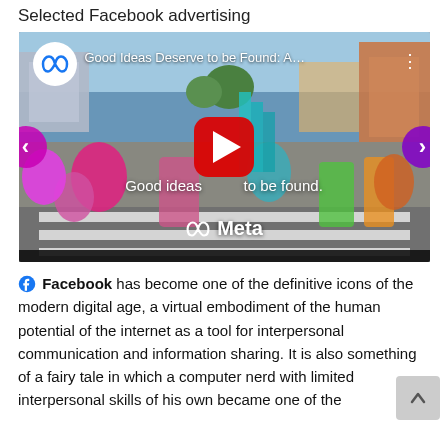Selected Facebook advertising
[Figure (screenshot): YouTube-style video thumbnail for Meta/Facebook ad titled 'Good Ideas Deserve to be Found: A...' showing a colorful street scene with people in costumes on a crosswalk, Meta logo, play button, navigation arrows, and overlay text 'Good ideas deserve to be found.']
Facebook has become one of the definitive icons of the modern digital age, a virtual embodiment of the human potential of the internet as a tool for interpersonal communication and information sharing. It is also something of a fairy tale in which a computer nerd with limited interpersonal skills of his own became one of the